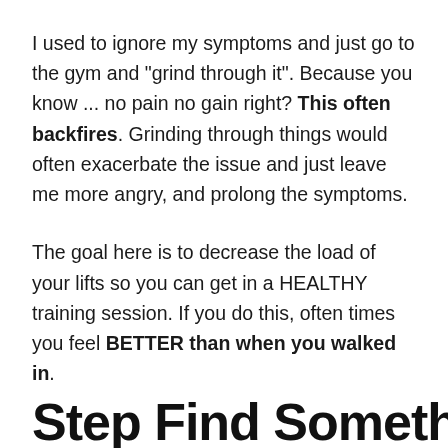I used to ignore my symptoms and just go to the gym and "grind through it". Because you know ... no pain no gain right? This often backfires. Grinding through things would often exacerbate the issue and just leave me more angry, and prolong the symptoms.
The goal here is to decrease the load of your lifts so you can get in a HEALTHY training session. If you do this, often times you feel BETTER than when you walked in.
Step Find Somethin...